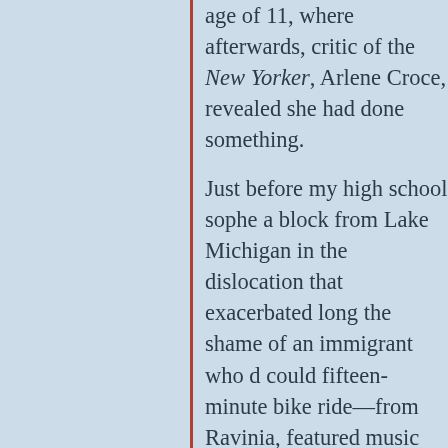age of 11, where afterwards, critic of the New Yorker, Arlene Croce, revealed she had done something.
Just before my high school sophomore year, a block from Lake Michigan in the dislocation that exacerbated long the shame of an immigrant who could—fifteen-minute bike ride—from Ravinia, featured music but plays and ballet, the youngest twin was the more t performances as we could. Which a ballet desert.
So when the New York City Ballet looked forward to the visit as if th Festival, the era of company grea
From the very first moment, the d began the residency that Sunday